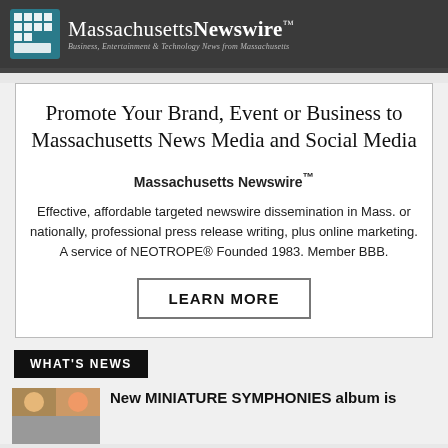Massachusetts Newswire™ — Business, Entertainment & Technology News from Massachusetts
Promote Your Brand, Event or Business to Massachusetts News Media and Social Media
Massachusetts Newswire™
Effective, affordable targeted newswire dissemination in Mass. or nationally, professional press release writing, plus online marketing. A service of NEOTROPE® Founded 1983. Member BBB.
LEARN MORE
WHAT'S NEWS
New MINIATURE SYMPHONIES album is